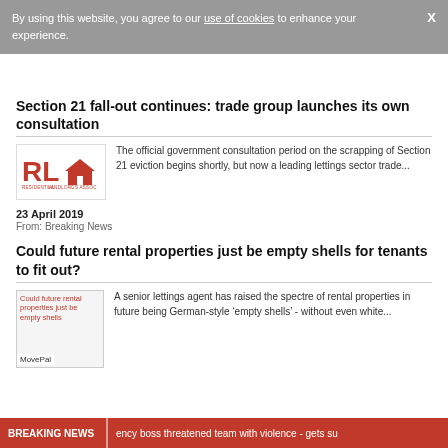By using this website, you agree to our use of cookies to enhance your experience.
Section 21 fall-out continues: trade group launches its own consultation
[Figure (logo): RLA (Residential Landlords Association) logo in red/orange color]
The official government consultation period on the scrapping of Section 21 eviction begins shortly, but now a leading lettings sector trade...
23 April 2019
From: Breaking News
Could future rental properties just be empty shells for tenants to fit out?
[Figure (photo): Could future rental properties just be empty shells - thumbnail image with MovePal logo]
A senior lettings agent has raised the spectre of rental properties in future being German-style ‘empty shells’ - without even white...
BREAKING NEWS  ency boss threatened team with violence - gets su